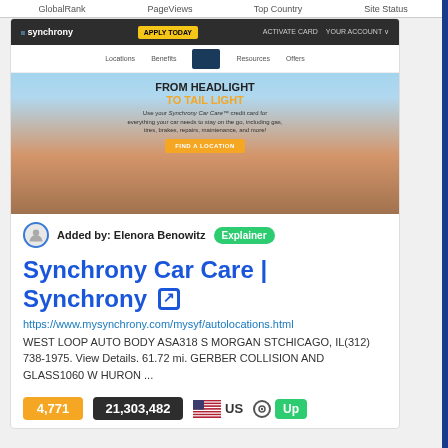GlobalRank   PageViews   Top Country   Site Status
[Figure (screenshot): Screenshot of Synchrony Car Care website showing navigation bar with 'APPLY TODAY', 'ACTIVATE CARD', 'YOUR ACCOUNT' buttons, sub-navigation with Locations, Benefits, Resources, Offers, and a hero image with 'FROM HEADLIGHT TO TAIL LIGHT' text and a 'FIND A LOCATION' button, with a woman in a car in the background.]
Added by: Elenora Benowitz  Explainer
Synchrony Car Care | Synchrony
https://www.mysynchrony.com/mysyf/autolocations.html
WEST LOOP AUTO BODY ASA318 S MORGAN STCHICAGO, IL(312) 738-1975. View Details. 61.72 mi. GERBER COLLISION AND GLASS1060 W HURON ...
4,771   21,303,482   US   Up